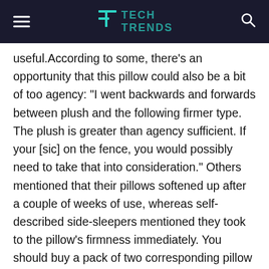TECH TRENDS
useful.According to some, there’s an opportunity that this pillow could also be a bit of too agency: “I went backwards and forwards between plush and the following firmer type. The plush is greater than agency sufficient. If your [sic] on the fence, you would possibly need to take that into consideration.” Others mentioned that their pillows softened up after a couple of weeks of use, whereas self-described side-sleepers mentioned they took to the pillow’s firmness immediately. You should buy a pack of two corresponding pillow circumstances individually, for $44.